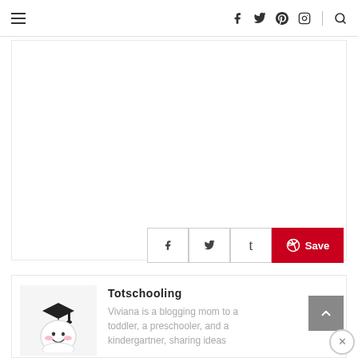≡  f  𝕏  ⓟ  📷  |  🔍
[Figure (screenshot): Large white empty content area card]
[Figure (infographic): Social share buttons: Facebook (f), Twitter (bird), Tumblr (t), Pinterest Save (red button with Pinterest circle logo and Save text)]
[Figure (illustration): Totschooling blog logo: cartoon baby/toddler face with graduation cap and green tassel, rosy cheeks, smiling]
Totschooling
Viviana is a blogging mom to a toddler, a preschooler, and a kindergartner, sharing ideas